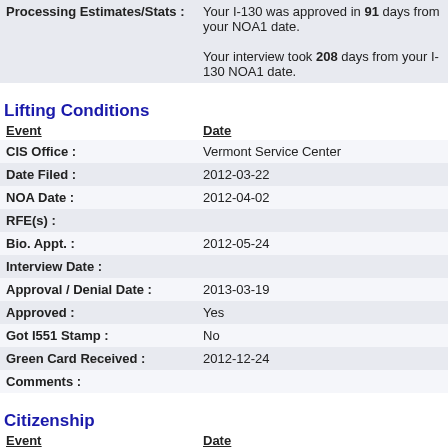| Processing Estimates/Stats : |  |
| --- | --- |
| Processing Estimates/Stats : | Your I-130 was approved in 91 days from your NOA1 date.

Your interview took 208 days from your I-130 NOA1 date. |
Lifting Conditions
| Event | Date |
| --- | --- |
| CIS Office : | Vermont Service Center |
| Date Filed : | 2012-03-22 |
| NOA Date : | 2012-04-02 |
| RFE(s) : |  |
| Bio. Appt. : | 2012-05-24 |
| Interview Date : |  |
| Approval / Denial Date : | 2013-03-19 |
| Approved : | Yes |
| Got I551 Stamp : | No |
| Green Card Received : | 2012-12-24 |
| Comments : |  |
Citizenship
| Event | Date |
| --- | --- |
| Service Center : | Phoenix AZ Lockbox |